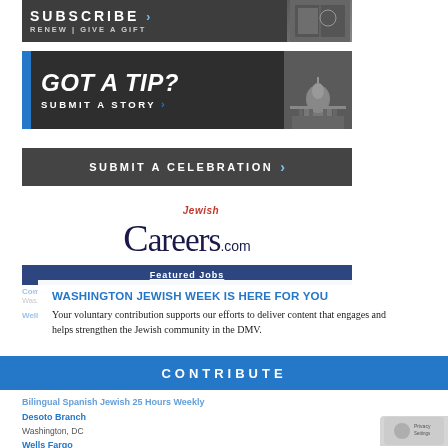[Figure (infographic): Subscribe banner: dark grey background with SUBSCRIBE / RENEW | GIVE A GIFT text and magazine image on right]
[Figure (infographic): Got a Tip? Submit a Story banner: dark background with blue left bar, italic white GOT A TIP? text, capitol dome image on right]
[Figure (infographic): Submit a Celebration banner: dark grey background with white text and blue arrow]
[Figure (logo): Jewish Careers .com logo: red Jewish text, large navy Careers serif font, .com suffix]
[Figure (infographic): Featured Jobs dark blue bar with white underlined text]
WASHINGTON JEWISH WEEK IS HERE FOR YOU
Your voluntary contribution supports our efforts to deliver content that engages and helps strengthen the Jewish community in the DMV.
[Figure (infographic): CONTRIBUTE blue button]
Bilingual Spanish Jewish 25 Hours Weekly
Desoto Branch
Washington, DC
Wells Fargo